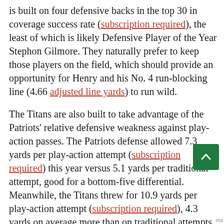is built on four defensive backs in the top 30 in coverage success rate (subscription required), the least of which is likely Defensive Player of the Year Stephon Gilmore. They naturally prefer to keep those players on the field, which should provide an opportunity for Henry and his No. 4 run-blocking line (4.66 adjusted line yards) to run wild.
The Titans are also built to take advantage of the Patriots' relative defensive weakness against play-action passes. The Patriots defense allowed 7.3 yards per play-action attempt (subscription required) this year versus 5.1 yards per traditional attempt, good for a bottom-five differential. Meanwhile, the Titans threw for 10.9 yards per play-action attempt (subscription required), 4.3 yards on average more than on traditional attempts, both the best marks in football.